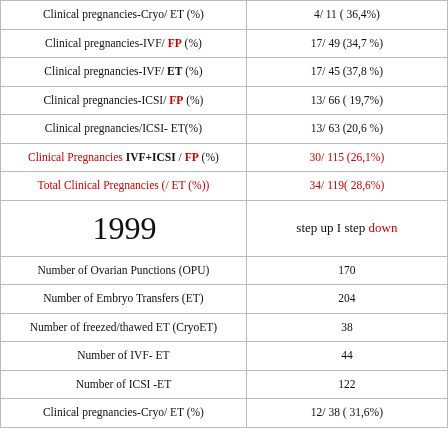| Metric | Value |
| --- | --- |
| Clinical pregnancies-Cryo/ ET (%) | 4/ 11 ( 36,4%) |
| Clinical pregnancies-IVF/ FP (%) | 17/ 49 (34,7 %) |
| Clinical pregnancies-IVF/ ET (%) | 17/ 45 (37,8 %) |
| Clinical pregnancies-ICSI/ FP (%) | 13/ 66 ( 19,7%) |
| Clinical pregnancies/ICSI- ET(%) | 13/ 63 (20,6 %) |
| Clinical Pregnancies IVF+ICSI / FP (%) | 30/ 115 (26,1%) |
| Total Clinical Pregnancies (/ ET (%)) | 34/ 119( 28,6%) |
| 1999 — step up I step down |  |
| Number of Ovarian Punctions (OPU) | 170 |
| Number of Embryo Transfers (ET) | 204 |
| Number of freezed/thawed ET (CryoET) | 38 |
| Number of IVF- ET | 44 |
| Number of ICSI -ET | 122 |
| Clinical pregnancies-Cryo/ ET (%) | 12/ 38 ( 31,6%) |